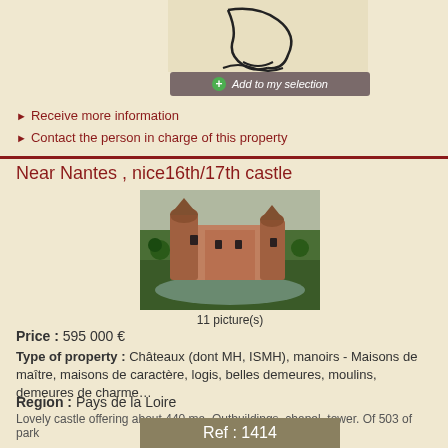[Figure (illustration): Partial logo/illustration with black line drawing on cream background, showing curved lines suggesting a map or figure]
[Figure (other): Add to my selection button with green plus circle icon, dark brownish-gray background, italic white text]
➤ Receive more information
➤ Contact the person in charge of this property
Near Nantes , nice16th/17th castle
[Figure (photo): Aerial photograph of a 16th/17th century castle near Nantes, surrounded by a moat and green grounds, red/orange stone towers and walls visible]
11 picture(s)
Price : 595 000 €
Type of property : Châteaux (dont MH, ISMH), manoirs - Maisons de maître, maisons de caractère, logis, belles demeures, moulins, demeures de charme…
Region : Pays de la Loire
Lovely castle offering about 440 ma. Outbuildings, chapel, tower. Of 503 of park
Ref : 1414